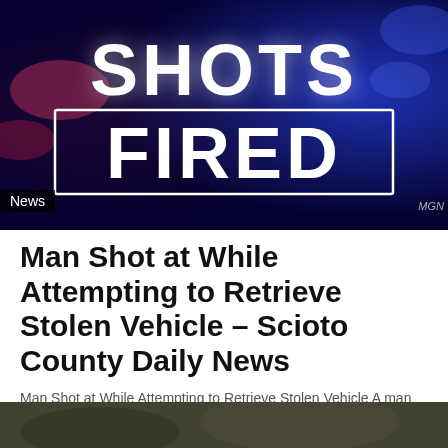[Figure (screenshot): Breaking news graphic with 'SHOTS FIRED' text in bold white letters on a dark blue and red police lights background, with a 'News' badge in the lower left corner and 'MGN' watermark in the lower right.]
Man Shot at While Attempting to Retrieve Stolen Vehicle – Scioto County Daily News
Man Shot at While Attempting to Retrieve Stolen Vehicle A man went...
Internewscast · May 19, 2022
[Figure (photo): Partially visible dark outdoor photo at the bottom of the page.]